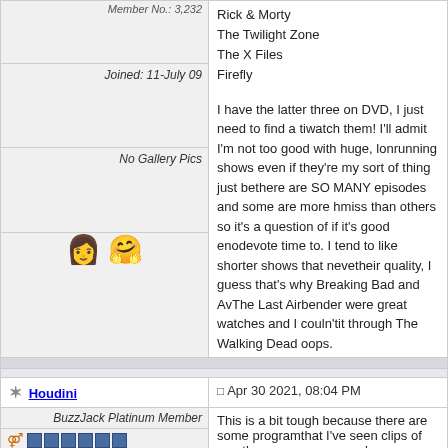Member No.: 3,232
Joined: 11-July 09
No Gallery Pics
Rick & Morty
The Twilight Zone
The X Files
Firefly
I have the latter three on DVD, I just need to find a time to watch them! I'll admit I'm not too good with huge, long running shows even if they're my sort of thing just because there are SO MANY episodes and some are more hit or miss than others so it's a question of if it's good enough to devote time to. I tend to like shorter shows that never lost their quality, I guess that's why Breaking Bad and Avatar The Last Airbender were great watches and I couldn't make it through The Walking Dead oops.
[Figure (illustration): Two emoji: a woman with brown hair emoji and a family emoji with two children]
Houdini
Apr 30 2021, 08:04 PM
BuzzJack Platinum Member
Group: Members
Posts: 7,086
Member No.: 21,725
This is a bit tough because there are some programmes that I've seen clips of on other programmes such as Gogglebox but I haven't watched a full episode of. When you say "Massive TV shows you've never seen before" do you mean literally not seeing a single clip of it?